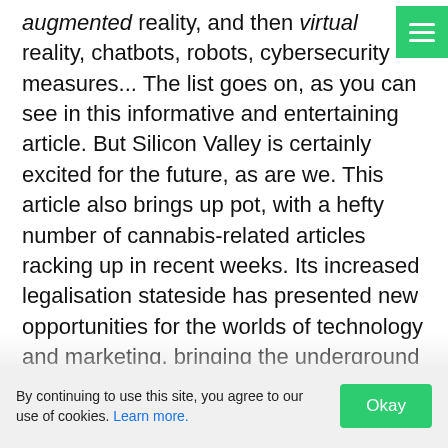augmented reality, and then virtual reality, chatbots, robots, cybersecurity measures... The list goes on, as you can see in this informative and entertaining article. But Silicon Valley is certainly excited for the future, as are we. This article also brings up pot, with a hefty number of cannabis-related articles racking up in recent weeks. Its increased legalisation stateside has presented new opportunities for the worlds of technology and marketing, bringing the underground overground. At this time of year especially, that brings to mind the Wombles, who are Christmassy but also quite a trippy
By continuing to use this site, you agree to our use of cookies. Learn more.